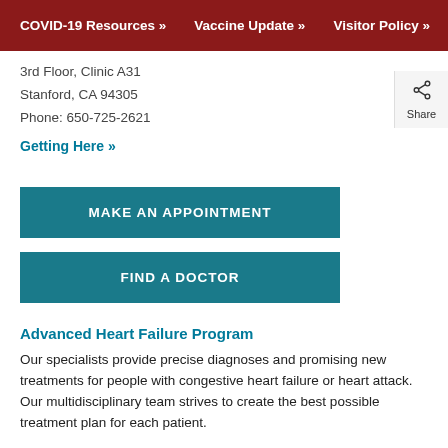COVID-19 Resources » Vaccine Update » Visitor Policy »
3rd Floor, Clinic A31
Stanford, CA 94305
Phone: 650-725-2621
Getting Here »
MAKE AN APPOINTMENT
FIND A DOCTOR
Advanced Heart Failure Program
Our specialists provide precise diagnoses and promising new treatments for people with congestive heart failure or heart attack. Our multidisciplinary team strives to create the best possible treatment plan for each patient.